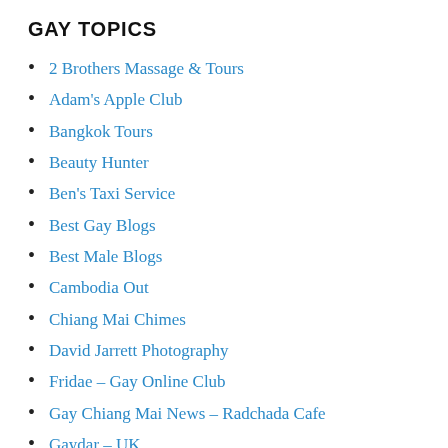GAY TOPICS
2 Brothers Massage & Tours
Adam's Apple Club
Bangkok Tours
Beauty Hunter
Ben's Taxi Service
Best Gay Blogs
Best Male Blogs
Cambodia Out
Chiang Mai Chimes
David Jarrett Photography
Fridae – Gay Online Club
Gay Chiang Mai News – Radchada Cafe
Gaydar – UK
Larry's Photo Gallery
M+ (Mplus) Chiang Mai